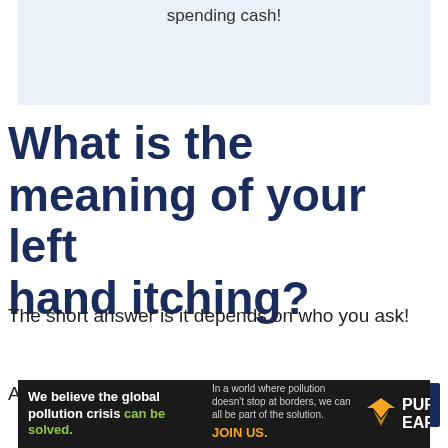spending cash!
What is the meaning of your left hand itching?
The short answer is it depends on who you ask!
According to some, the right hand
[Figure (other): Dark navy blue rectangle box (partial UI element)]
[Figure (other): Advertisement banner for Pure Earth: 'We believe the global pollution crisis can be solved. In a world where pollution doesn't stop at borders, we can all be part of the solution. JOIN US.' with Pure Earth logo.]